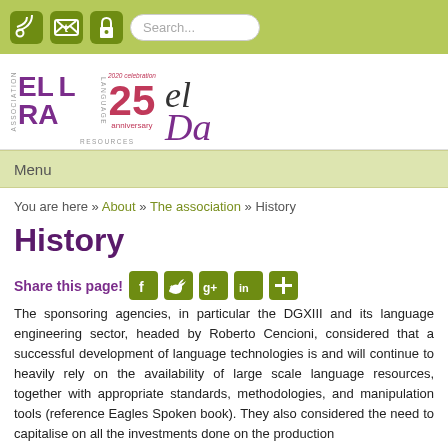[Figure (screenshot): Website top navigation bar with RSS, Twitter, lock icons and search box on olive/green background]
[Figure (logo): ELRA/ELDA 25th anniversary logo with purple ELRA text and pink 25 anniversary]
Menu
You are here » About » The association » History
History
Share this page!
The sponsoring agencies, in particular the DGXIII and its language engineering sector, headed by Roberto Cencioni, considered that a successful development of language technologies is and will continue to heavily rely on the availability of large scale language resources, together with appropriate standards, methodologies, and manipulation tools (reference Eagles Spoken book). They also considered the need to capitalise on all the investments done on the production